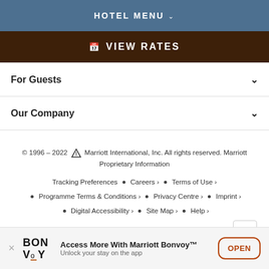HOTEL MENU
VIEW RATES
For Guests
Our Company
© 1996 – 2022 Marriott International, Inc. All rights reserved. Marriott Proprietary Information
Tracking Preferences • Careers › • Terms of Use ›
• Programme Terms & Conditions › • Privacy Centre › • Imprint ›
• Digital Accessibility › • Site Map › • Help ›
Access More With Marriott Bonvoy™ Unlock your stay on the app OPEN